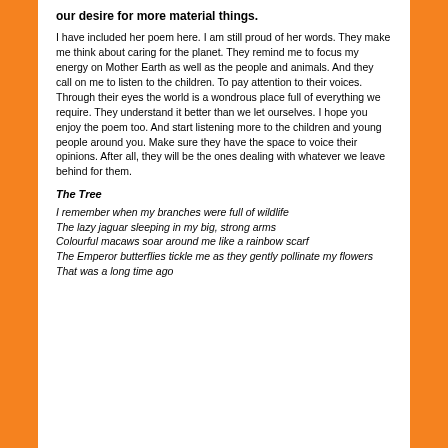our desire for more material things.
I have included her poem here. I am still proud of her words. They make me think about caring for the planet. They remind me to focus my energy on Mother Earth as well as the people and animals. And they call on me to listen to the children. To pay attention to their voices. Through their eyes the world is a wondrous place full of everything we require. They understand it better than we let ourselves. I hope you enjoy the poem too. And start listening more to the children and young people around you. Make sure they have the space to voice their opinions. After all, they will be the ones dealing with whatever we leave behind for them.
The Tree
I remember when my branches were full of wildlife
The lazy jaguar sleeping in my big, strong arms
Colourful macaws soar around me like a rainbow scarf
The Emperor butterflies tickle me as they gently pollinate my flowers
That was a long time ago